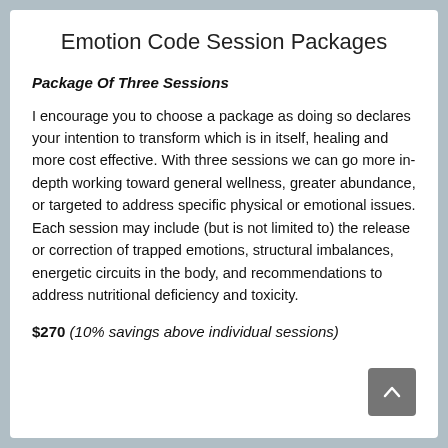Emotion Code Session Packages
Package Of Three Sessions
I encourage you to choose a package as doing so declares your intention to transform which is in itself, healing and more cost effective. With three sessions we can go more in-depth working toward general wellness, greater abundance, or targeted to address specific physical or emotional issues. Each session may include (but is not limited to) the release or correction of trapped emotions, structural imbalances, energetic circuits in the body, and recommendations to address nutritional deficiency and toxicity.
$270 (10% savings above individual sessions)